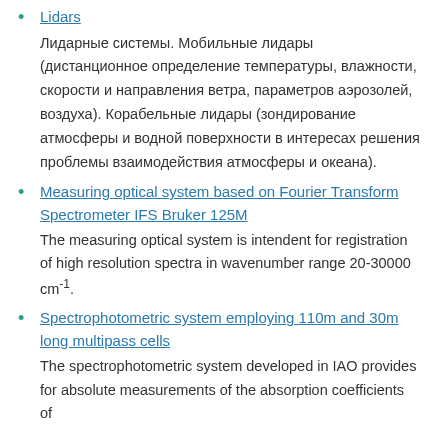Lidars — Лидарные системы. Мобильные лидары (дистанционное определение температуры, влажности, скорости и направления ветра, параметров аэрозолей, воздуха). Корабельные лидары (зондирование атмосферы и водной поверхности в интересах решения проблемы взаимодействия атмосферы и океана).
Measuring optical system based on Fourier Transform Spectrometer IFS Bruker 125M — The measuring optical system is intendent for registration of high resolution spectra in wavenumber range 20-30000 cm-1.
Spectrophotometric system employing 110m and 30m long multipass cells — The spectrophotometric system developed in IAO provides for absolute measurements of the absorption coefficients of